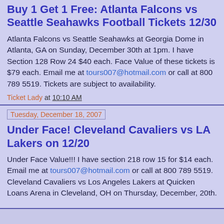Buy 1 Get 1 Free: Atlanta Falcons vs Seattle Seahawks Football Tickets 12/30
Atlanta Falcons vs Seattle Seahawks at Georgia Dome in Atlanta, GA on Sunday, December 30th at 1pm. I have Section 128 Row 24 $40 each. Face Value of these tickets is $79 each. Email me at tours007@hotmail.com or call at 800 789 5519. Tickets are subject to availability.
Ticket Lady at 10:10 AM
Tuesday, December 18, 2007
Under Face! Cleveland Cavaliers vs LA Lakers on 12/20
Under Face Value!!! I have section 218 row 15 for $14 each. Email me at tours007@hotmail.com or call at 800 789 5519. Cleveland Cavaliers vs Los Angeles Lakers at Quicken Loans Arena in Cleveland, OH on Thursday, December, 20th.